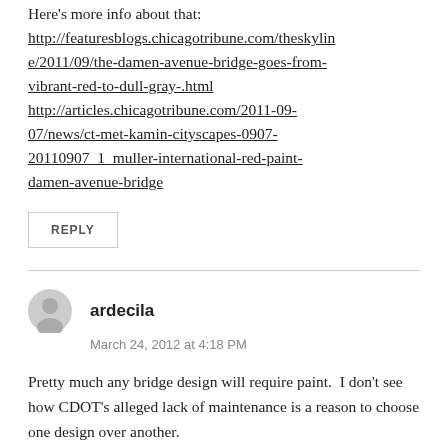Here's more info about that: http://featuresblogs.chicagotribune.com/theskyline/2011/09/the-damen-avenue-bridge-goes-from-vibrant-red-to-dull-gray-.html http://articles.chicagotribune.com/2011-09-07/news/ct-met-kamin-cityscapes-0907-20110907_1_muller-international-red-paint-damen-avenue-bridge
REPLY
ardecila
March 24, 2012 at 4:18 PM
Pretty much any bridge design will require paint.  I don't see how CDOT's alleged lack of maintenance is a reason to choose one design over another.